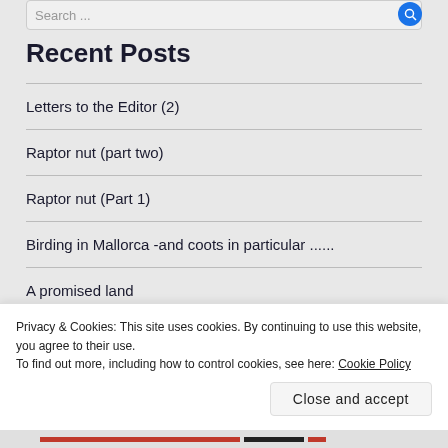Search ...
Recent Posts
Letters to the Editor (2)
Raptor nut (part two)
Raptor nut (Part 1)
Birding in Mallorca -and coots in particular ......
A promised land
Privacy & Cookies: This site uses cookies. By continuing to use this website, you agree to their use.
To find out more, including how to control cookies, see here: Cookie Policy
Close and accept